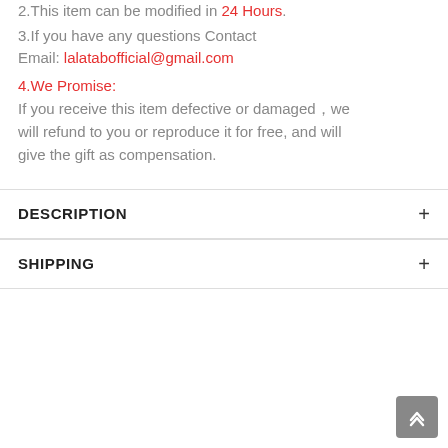2.This item can be modified in 24 Hours.
3.If you have any questions Contact
Email: lalatabofficial@gmail.com
4.We Promise:
If you receive this item defective or damaged，we will refund to you or reproduce it for free, and will give the gift as compensation.
DESCRIPTION
SHIPPING